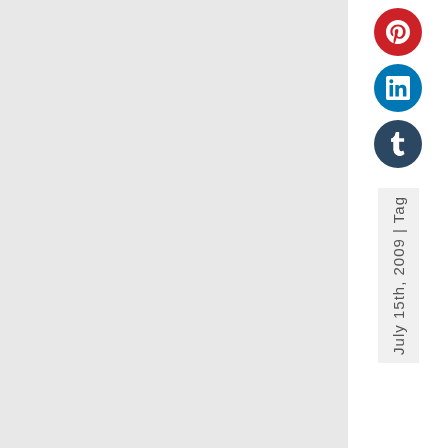[Figure (infographic): Social media sharing icons: Pinterest (red), LinkedIn (blue), Tumblr (dark navy), arranged vertically in a white sidebar]
July 15th, 2009 | Tag